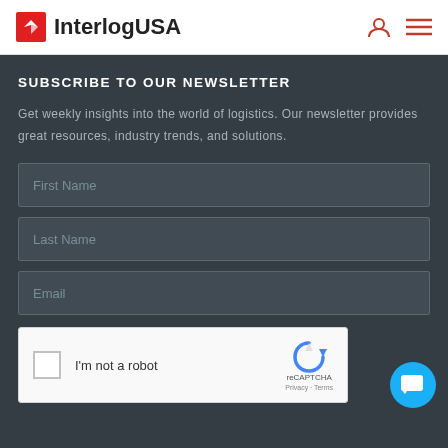InterlogUSA
SUBSCRIBE TO OUR NEWSLETTER
Get weekly insights into the world of logistics. Our newsletter provides great resources, industry trends, and solutions.
First Name
Last Name
Email
[Figure (other): reCAPTCHA widget with checkbox labeled I'm not a robot, reCAPTCHA logo, Privacy and Terms links]
[Figure (other): Blue circular chat support button in bottom right corner]